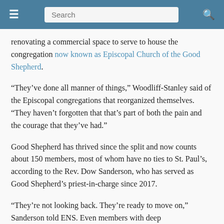Search
renovating a commercial space to serve to house the congregation now known as Episcopal Church of the Good Shepherd.
“They’ve done all manner of things,” Woodliff-Stanley said of the Episcopal congregations that reorganized themselves. “They haven’t forgotten that that’s part of both the pain and the courage that they’ve had.”
Good Shepherd has thrived since the split and now counts about 150 members, most of whom have no ties to St. Paul’s, according to the Rev. Dow Sanderson, who has served as Good Shepherd’s priest-in-charge since 2017.
“They’re not looking back. They’re ready to move on,” Sanderson told ENS. Even members with deep generational ties to St. Paul’s are accepting of the court…